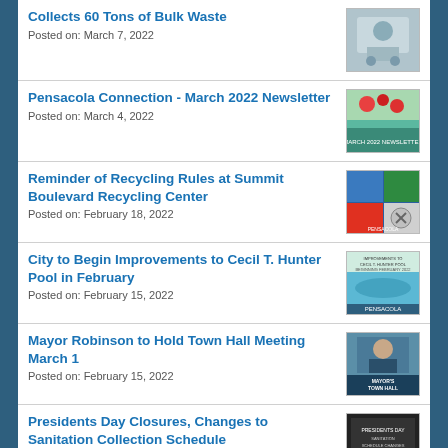Collects 60 Tons of Bulk Waste
Posted on: March 7, 2022
Pensacola Connection - March 2022 Newsletter
Posted on: March 4, 2022
Reminder of Recycling Rules at Summit Boulevard Recycling Center
Posted on: February 18, 2022
City to Begin Improvements to Cecil T. Hunter Pool in February
Posted on: February 15, 2022
Mayor Robinson to Hold Town Hall Meeting March 1
Posted on: February 15, 2022
Presidents Day Closures, Changes to Sanitation Collection Schedule